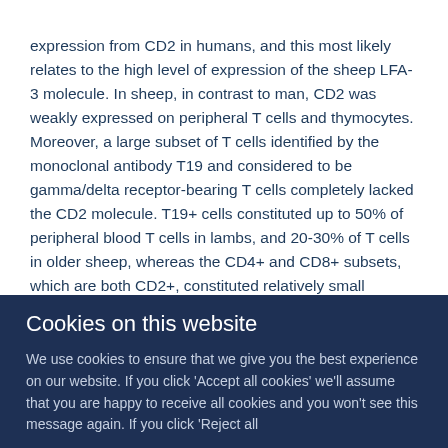expression from CD2 in humans, and this most likely relates to the high level of expression of the sheep LFA-3 molecule. In sheep, in contrast to man, CD2 was weakly expressed on peripheral T cells and thymocytes. Moreover, a large subset of T cells identified by the monoclonal antibody T19 and considered to be gamma/delta receptor-bearing T cells completely lacked the CD2 molecule. T19+ cells constituted up to 50% of peripheral blood T cells in lambs, and 20-30% of T cells in older sheep, whereas the CD4+ and CD8+ subsets, which are both CD2+, constituted relatively small subsets in peripheral blood. Only those T cells which did express CD2 adhered as "rosettes" to dendritic cells, and the localization of
Cookies on this website
We use cookies to ensure that we give you the best experience on our website. If you click 'Accept all cookies' we'll assume that you are happy to receive all cookies and you won't see this message again. If you click 'Reject all